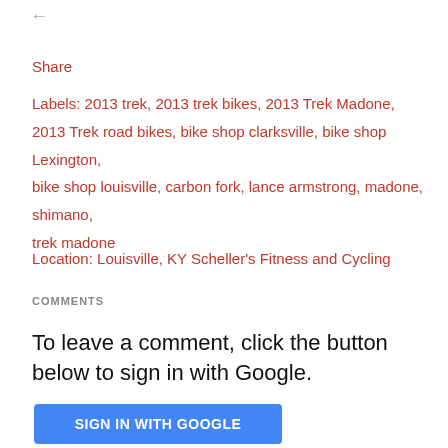←
Share
Labels: 2013 trek, 2013 trek bikes, 2013 Trek Madone, 2013 Trek road bikes, bike shop clarksville, bike shop Lexington, bike shop louisville, carbon fork, lance armstrong, madone, shimano, trek madone
Location: Louisville, KY Scheller's Fitness and Cycling
COMMENTS
To leave a comment, click the button below to sign in with Google.
SIGN IN WITH GOOGLE